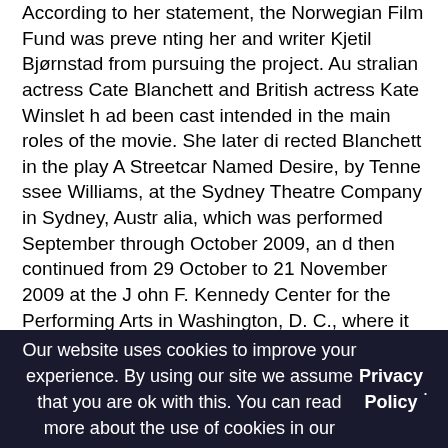According to her statement, the Norwegian Film Fund was preventing her and writer Kjetil Bjørnstad from pursuing the project. Australian actress Cate Blanchett and British actress Kate Winslet had been cast intended in the main roles of the movie. She later directed Blanchett in the play A Streetcar Named Desire, by Tennessee Williams, at the Sydney Theatre Company in Sydney, Australia, which was performed September through October 2009, and then continued from 29 October to 21 November 2009 at the John F. Kennedy Center for the Performing Arts in Washington, D.C., where it won a Helen Hayes Award for Outstanding Non-resident Production as well as actress and supporting performer for 2009. The play was also performed at the Brooklyn Academy of Music in Brooklyn, New York.
In 2013 it was announced that Ullmann would direct a film adaptation of Miss Julie. The film, set to be released in 2014, stars Jessica Chastain, Colin Farrell and Samantha Morton.
Private life
In addition to Norwegian, Ullmann speaks Swedish, English and other European languages. She is a UNICEF Goodwill Ambassa
Our website uses cookies to improve your experience. By using our site we assume that you are ok with this. You can read more about the use of cookies in our Privacy Policy